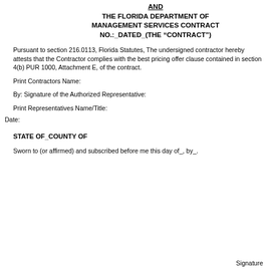AND THE FLORIDA DEPARTMENT OF MANAGEMENT SERVICES CONTRACT NO.:_DATED_(THE “CONTRACT”)
Pursuant to section 216.0113, Florida Statutes, The undersigned contractor hereby attests that the Contractor complies with the best pricing offer clause contained in section 4(b) PUR 1000, Attachment E, of the contract.
Print Contractors Name:
By: Signature of the Authorized Representative:
Print Representatives Name/Title:
Date:
STATE OF_COUNTY OF
Sworn to (or affirmed) and subscribed before me this day of_, by_.
Signature